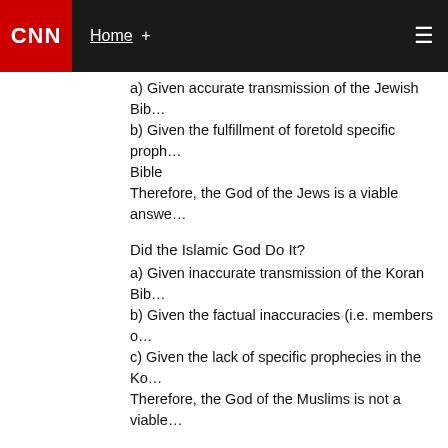CNN  Home +
a) Given accurate transmission of the Jewish Bib…
b) Given the fulfillment of foretold specific proph… Bible
Therefore, the God of the Jews is a viable answe…
Did the Islamic God Do It?
a) Given inaccurate transmission of the Koran Bib…
b) Given the factual inaccuracies (i.e. members o…
c) Given the lack of specific prophecies in the Ko…
Therefore, the God of the Muslims is not a viable…
Did the Christian God Do It?
a) Given accurate transmission of the Christian B…
b) Given the fulfillment of foretold specific proph… Christian Bible
Therefore, the God of the Christian is a viable co… here. Since it includes the Jewish beliefs as well…
January 17, 2013 at 7:16 pm |
hawaiiquest